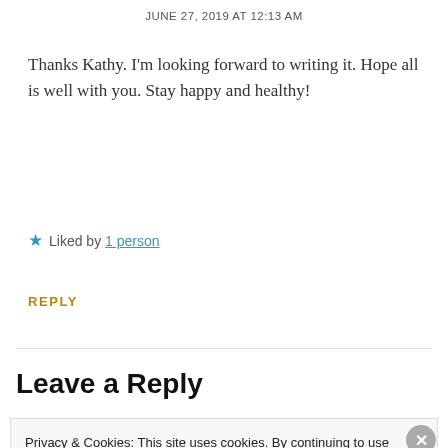JUNE 27, 2019 AT 12:13 AM
Thanks Kathy. I'm looking forward to writing it. Hope all is well with you. Stay happy and healthy!
★ Liked by 1 person
REPLY
Leave a Reply
Privacy & Cookies: This site uses cookies. By continuing to use this website, you agree to their use.
To find out more, including how to control cookies, see here: Cookie Policy
Close and accept